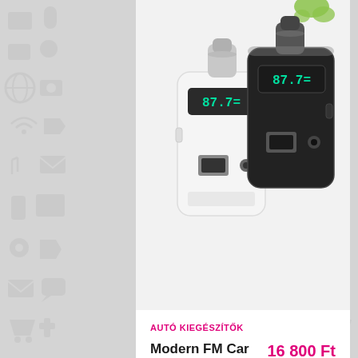[Figure (photo): Two FM car transmitters with USB ports and LCD displays showing 87.7, one white and one black, photographed on a light background]
AUTÓ KIEGÉSZÍTŐK
Modern FM Car Adó + AUX + USB töltő
16 800 Ft
ELŐRENDELÉS